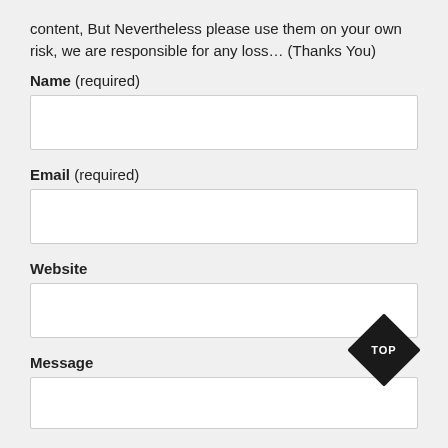content, But Nevertheless please use them on your own risk, we are responsible for any loss… (Thanks You)
Name (required)
Email (required)
Website
Message
[Figure (illustration): Black diamond-shaped TOP button in bottom-right area]